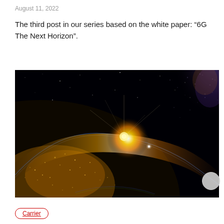August 11, 2022
The third post in our series based on the white paper: “6G The Next Horizon”.
[Figure (photo): Photograph of Earth from space showing a sunrise/sunset with a bright golden sunburst over the planet’s horizon, city lights visible on the landmasses below, and the Milky Way galaxy visible in the upper right background against a dark star-filled sky.]
Carrier